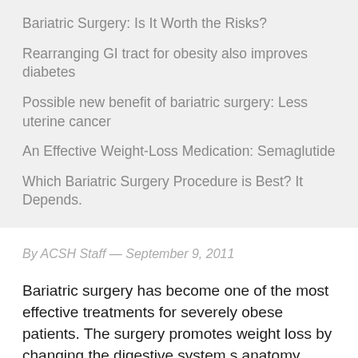Bariatric Surgery: Is It Worth the Risks?
Rearranging GI tract for obesity also improves diabetes
Possible new benefit of bariatric surgery: Less uterine cancer
An Effective Weight-Loss Medication: Semaglutide
Which Bariatric Surgery Procedure is Best? It Depends.
By ACSH Staff — September 9, 2011
Bariatric surgery has become one of the most effective treatments for severely obese patients. The surgery promotes weight loss by changing the digestive system s anatomy, limiting the amount of food that can be consumed and digested. Now, a recent meta-analysis